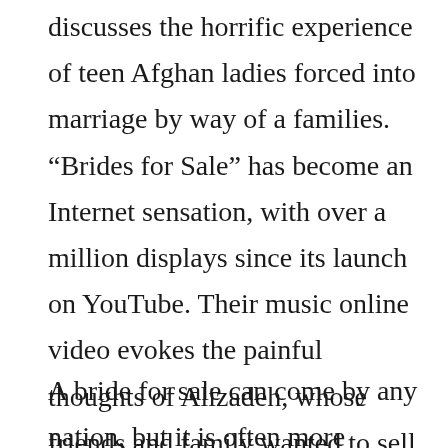discusses the horrific experience of teen Afghan ladies forced into marriage by way of a families. “Brides for Sale” has become an Internet sensation, with over a million displays since its launch on YouTube. Their music online video evokes the painful thoughts of Alizadeh, whose friends and family wanted to sell off her pertaining to $9, 1000.
A bride for sale can come by any nation, but it is often more common to find them in South-